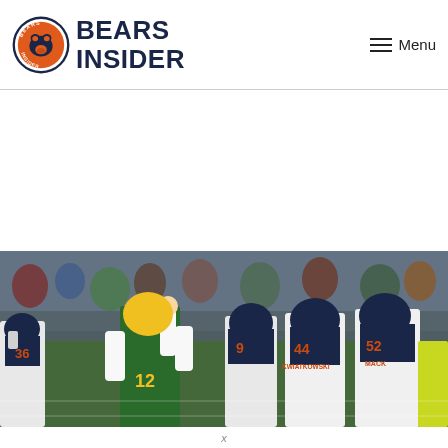BEARS INSIDER — Menu
[Figure (photo): NFL football game action photo showing Green Bay Packers quarterback #12 (Aaron Rodgers) celebrating or gesturing with fist raised, while several Chicago Bears defensive players (#9, #44 Kwiatkowski, #52 Mack) stand nearby on the field. The Bears players are in white away uniforms with navy and orange numbers and the Packers player is in the green home uniform with yellow helmet. Stadium crowd and a security worker in yellow vest visible in background.]